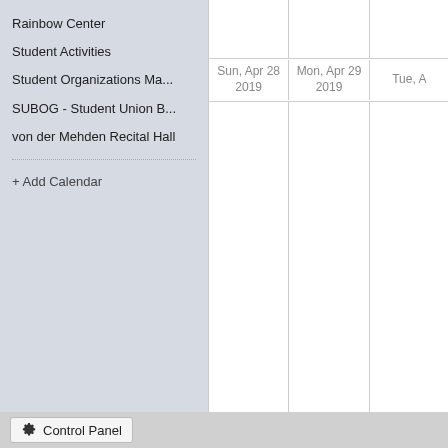Rainbow Center
Student Activities
Student Organizations Ma...
SUBOG - Student Union B...
von der Mehden Recital Hall
+ Add Calendar
|  | Sun, Apr 28 2019 | Mon, Apr 29 2019 | Tue, A... |
| --- | --- | --- | --- |
|  |  |  |  |
|  |  |  |  |
Control Panel